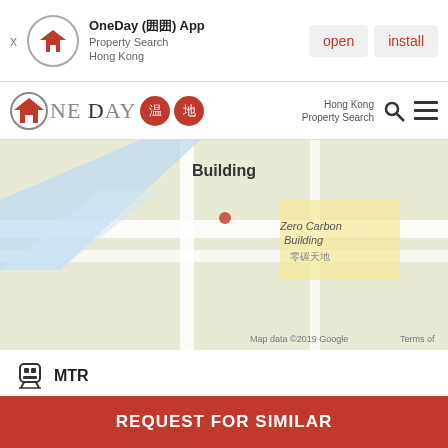[Figure (screenshot): App install banner for OneDay App - Property Search Hong Kong with open and install buttons]
[Figure (screenshot): OneDay property search website navigation bar with logo, search icon, and menu icon]
[Figure (map): Google Map showing area near Zero Carbon Building with label 'Building' at top]
MTR
囲囲囲 Island line
North Point Station MTR Station
Distance 0.3km
REQUEST FOR SIMILAR